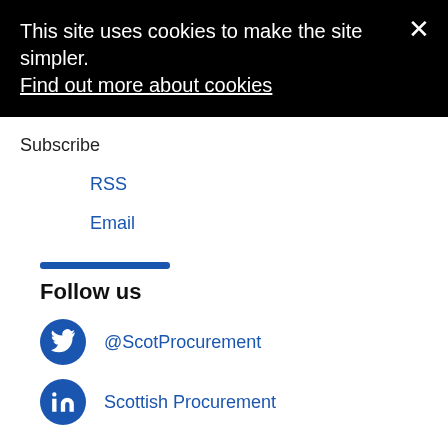This site uses cookies to make the site simpler. Find out more about cookies
Subscribe
RSS
Email
Follow us
@ScotProcurement
Scottish Procurement